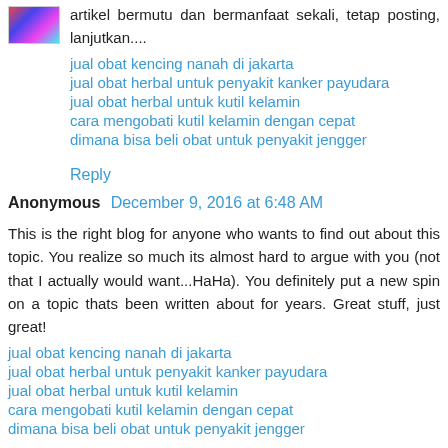artikel bermutu dan bermanfaat sekali, tetap posting, lanjutkan....
jual obat kencing nanah di jakarta
jual obat herbal untuk penyakit kanker payudara
jual obat herbal untuk kutil kelamin
cara mengobati kutil kelamin dengan cepat
dimana bisa beli obat untuk penyakit jengger
Reply
Anonymous  December 9, 2016 at 6:48 AM
This is the right blog for anyone who wants to find out about this topic. You realize so much its almost hard to argue with you (not that I actually would want...HaHa). You definitely put a new spin on a topic thats been written about for years. Great stuff, just great!
jual obat kencing nanah di jakarta
jual obat herbal untuk penyakit kanker payudara
jual obat herbal untuk kutil kelamin
cara mengobati kutil kelamin dengan cepat
dimana bisa beli obat untuk penyakit jengger